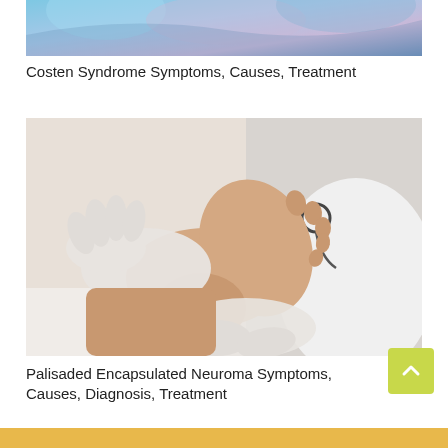[Figure (photo): Partial view of a medical illustration or anatomy image with blue and purple tones at the top of the page]
Costen Syndrome Symptoms, Causes, Treatment
[Figure (photo): A doctor in white coat and gloves examining a patient's foot, with a stethoscope visible]
Palisaded Encapsulated Neuroma Symptoms, Causes, Diagnosis, Treatment